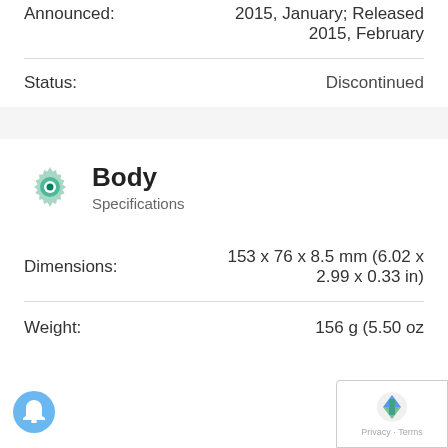| Field | Value |
| --- | --- |
| Announced: | 2015, January; Released 2015, February |
| Status: | Discontinued |
Body Specifications
| Field | Value |
| --- | --- |
| Dimensions: | 153 x 76 x 8.5 mm (6.02 x 2.99 x 0.33 in) |
| Weight: | 156 g (5.50 oz) |